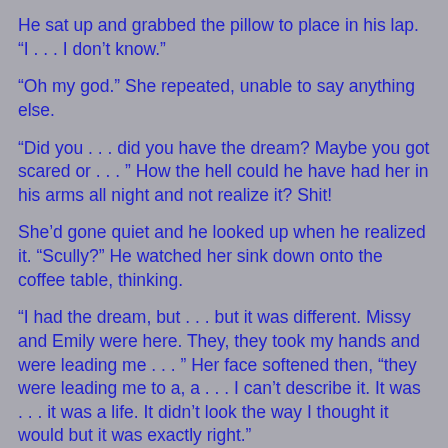He sat up and grabbed the pillow to place in his lap. “I . . . I don’t know.”
“Oh my god.” She repeated, unable to say anything else.
“Did you . . . did you have the dream? Maybe you got scared or . . . ” How the hell could he have had her in his arms all night and not realize it? Shit!
She’d gone quiet and he looked up when he realized it. “Scully?” He watched her sink down onto the coffee table, thinking.
“I had the dream, but . . . but it was different. Missy and Emily were here. They, they took my hands and were leading me . . . ” Her face softened then, “they were leading me to a, a . . . I can’t describe it. It was . . . it was a life. It didn’t look the way I thought it would but it was exactly right.”
“And you ended up out here, with me?” He was watching her and saw her head come up, startled. She couldn’t have looked more stunned if he had shot her himself.
She rose then, moving away from him and he wanted to rip out his tongue. She’d looked happy for a moment there,